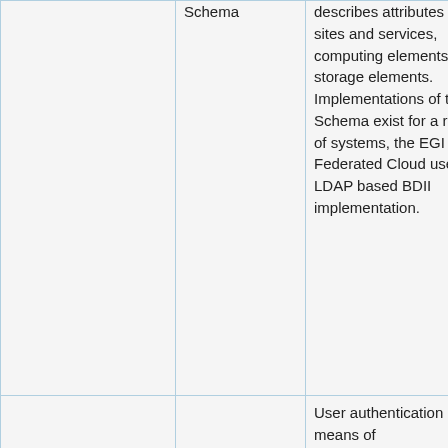|  | Schema | describes attributes of sites and services, computing elements and storage elements. Implementations of the Schema exist for a range of systems, the EGI Federated Cloud uses the LDAP based BDII implementation. | cloud resource... |
|  |  | User authentication is a means of |  |